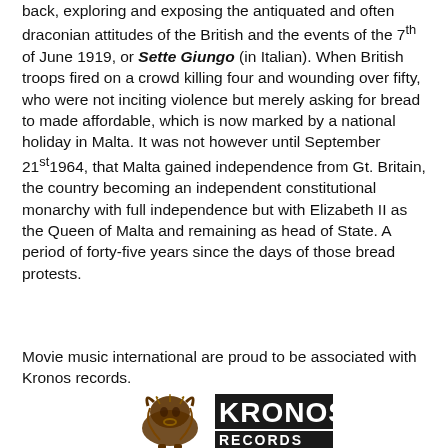back, exploring and exposing the antiquated and often draconian attitudes of the British and the events of the 7th of June 1919, or Sette Giungo (in Italian). When British troops fired on a crowd killing four and wounding over fifty, who were not inciting violence but merely asking for bread to made affordable, which is now marked by a national holiday in Malta. It was not however until September 21st1964, that Malta gained independence from Gt. Britain, the country becoming an independent constitutional monarchy with full independence but with Elizabeth II as the Queen of Malta and remaining as head of State. A period of forty-five years since the days of those bread protests.
Movie music international are proud to be associated with Kronos records.
[Figure (logo): Kronos Records logo with a bull/beast illustration on the left and 'KRONOS RECORDS' text on the right in bold decorative font]